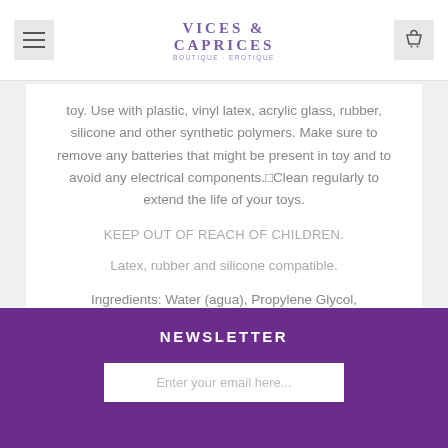VICES & CAPRICES
toy. Use with plastic, vinyl latex, acrylic glass, rubber, silicone and other synthetic polymers. Make sure to remove any batteries that might be present in toy and to avoid any electrical components.¬lean regularly to extend the life of your toys.
KEEP OUT OF REACH OF CHILDREN.
Latex, rubber and silicone compatible.
Ingredients: Water (agua), Propylene Glycol, Polysorbate 20, Phenoxyethanol, Melaleuca Alternifolia (Tea Tree) Leaf Oil, Lavandula Angustifolia (Lavender) Oil.
NEWSLETTER
Enter your email here...